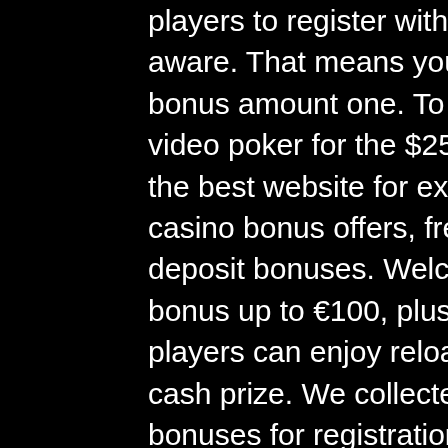players to register with them. However, you might not be aware. That means you just need to bet the deposit and bonus amount one. To bet $250 on slots or $500 on video poker for the $25 no-deposit bonus. Aboutslots is the best website for exclusive casino bonuses slots, casino bonus offers, free spins casino bonuses and free deposit bonuses. Welcome bonus of a 50% deposit bonus up to €100, plus a €50 free sports bet. Regular players can enjoy reload bonuses, free spins, raffles and cash prize. We collected best bookmakers no deposit bonuses for registration 2022. ✓ the bonus codes for betting sites without a deposit. Keep what you win. Online casinos dislike handing out anything for free. Unsurprisingly, before you can withdraw winnings arising from a no deposit bonus, you must. No deposit bonus codes from our accredited casinos 2022 monthly updated. Look at what no-deposit bonuses are, what forms they